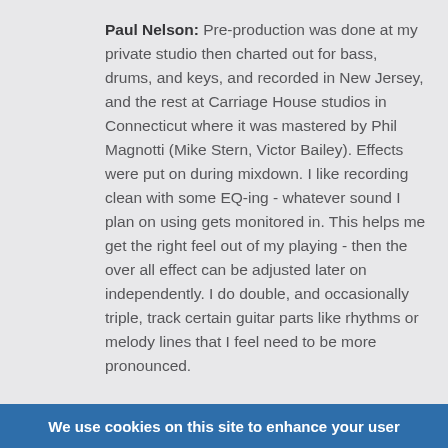Paul Nelson: Pre-production was done at my private studio then charted out for bass, drums, and keys, and recorded in New Jersey, and the rest at Carriage House studios in Connecticut where it was mastered by Phil Magnotti (Mike Stern, Victor Bailey). Effects were put on during mixdown. I like recording clean with some EQ-ing - whatever sound I plan on using gets monitored in. This helps me get the right feel out of my playing - then the over all effect can be adjusted later on independently. I do double, and occasionally triple, track certain guitar parts like rhythms or melody lines that I feel need to be more pronounced.
Dan McAvinchey: How did you learn to play in such a rich variety of styles?
We use cookies on this site to enhance your user